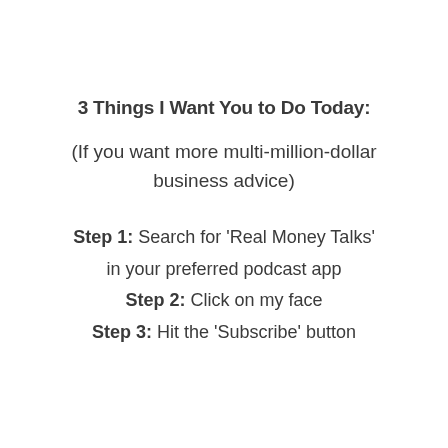3 Things I Want You to Do Today:
(If you want more multi-million-dollar business advice)
Step 1: Search for 'Real Money Talks' in your preferred podcast app
Step 2: Click on my face
Step 3: Hit the 'Subscribe' button